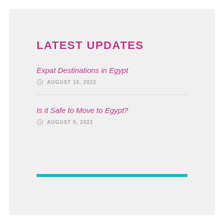LATEST UPDATES
Expat Destinations in Egypt
AUGUST 16, 2022
Is it Safe to Move to Egypt?
AUGUST 9, 2022